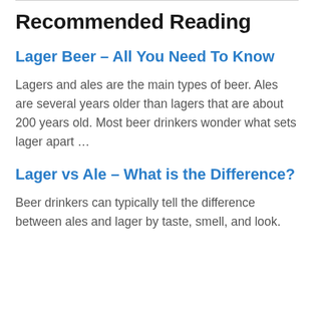Recommended Reading
Lager Beer – All You Need To Know
Lagers and ales are the main types of beer. Ales are several years older than lagers that are about 200 years old. Most beer drinkers wonder what sets lager apart …
Lager vs Ale – What is the Difference?
Beer drinkers can typically tell the difference between ales and lager by taste, smell, and look.